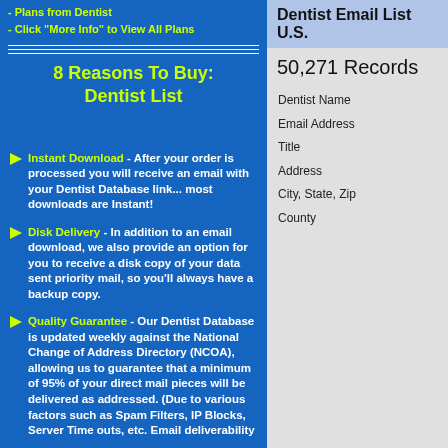- Plans from Dentist
- Click "More Info" to View All Plans
8 Reasons To Buy: Dentist List
Instant Download - After your order is processed you will receive an email with your Dentist Database link... most downloads are Instant!
Disk Delivery - In addition to an email download, we also provide an option for you to receive a disk copy of your data sent priority mail, so you'll always have a backup copy.
Quality Guarantee - Our Dentist Database is updated weekly against the National Change of Address Directory (NCOA), allowing us to guarantee that a minimum of 95% of your direct mail pieces will be delivered as addressed. (Due to various factors such as Spam Filters, IP Blocks, Server Time outs, etc. Email deliverability
Dentist Email List U.S.
50,271 Records
| Dentist Name |
| Email Address |
| Title |
| Address |
| City, State, Zip |
| County |